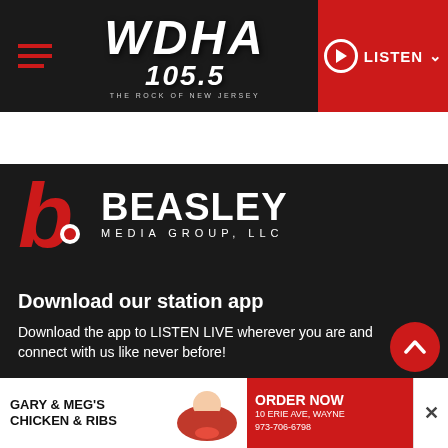[Figure (logo): WDHA 105.5 The Rock of New Jersey radio station header with hamburger menu, logo, and red LISTEN button]
[Figure (logo): Beasley Media Group LLC logo with red 'b' letter and white wordmark on dark background]
Download our station app
Download the app to LISTEN LIVE wherever you are and connect with us like never before!
[Figure (screenshot): Download on the App Store button]
[Figure (infographic): Advertisement banner: Gary & Meg's Chicken & Ribs - Order Now - 10 Erie Ave, Wayne 973-706-6798]